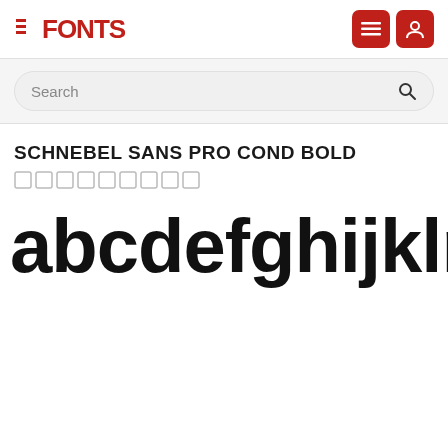FFONTS
Search
SCHNEBEL SANS PRO COND BOLD
[Figure (illustration): A row of small empty square checkbox boxes]
abcdefghijklm